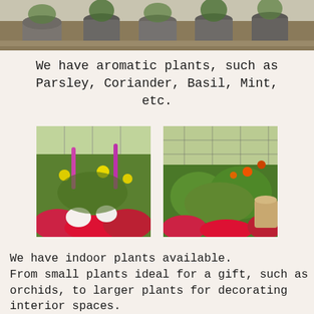[Figure (photo): Top photo showing potted plants in grey/dark fabric pots arranged on a shelf or bench in a nursery setting]
We have aromatic plants, such as Parsley, Coriander, Basil, Mint, etc.
[Figure (photo): Left photo showing colorful flowering plants including pink, red, white and yellow flowers in a greenhouse]
[Figure (photo): Right photo showing green foliage plants with pink and red flowers in a greenhouse]
We have indoor plants available.
From small plants ideal for a gift, such as orchids, to larger plants for decorating interior spaces.
We have Orchids, Sansevierias, Ferns, Bromelias, Zamioculsa, Kentia, Areca and many more.